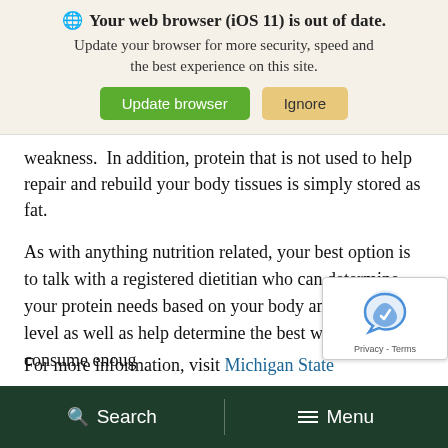[Figure (screenshot): Browser update notification banner with globe icon, bold title 'Your web browser (iOS 11) is out of date.', subtitle text, and two buttons: 'Update browser' (green) and 'Ignore' (tan/yellow).]
weakness.  In addition, protein that is not used to help repair and rebuild your body tissues is simply stored as fat.
As with anything nutrition related, your best option is to talk with a registered dietitian who can determine your protein needs based on your body and activity level as well as help determine the best ways to consume enou…
For more information, visit Michigan State
Search   Menu